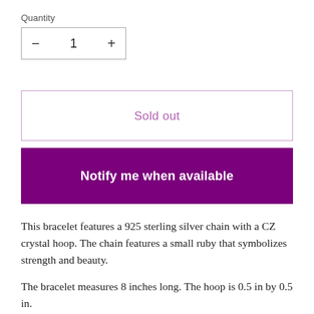Quantity
[Figure (other): Quantity selector box with minus button, number 1, and plus button]
Sold out
Notify me when available
This bracelet features a 925 sterling silver chain with a CZ crystal hoop. The chain features a small ruby that symbolizes strength and beauty.
The bracelet measures 8 inches long. The hoop is 0.5 in by 0.5 in.
Each ELLE Jewelry Collection piece is finished with a